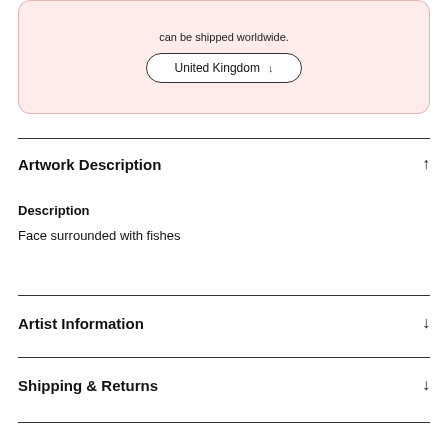can be shipped worldwide.
United Kingdom ↓
Artwork Description ↑
Description
Face surrounded with fishes
Artist Information ↓
Shipping & Returns ↓